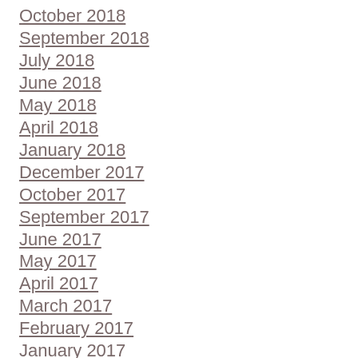October 2018
September 2018
July 2018
June 2018
May 2018
April 2018
January 2018
December 2017
October 2017
September 2017
June 2017
May 2017
April 2017
March 2017
February 2017
January 2017
December 2016
November 2016
August 2016